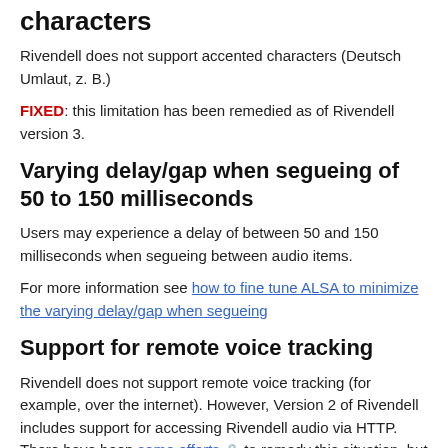characters
Rivendell does not support accented characters (Deutsch Umlaut, z. B.)
FIXED: this limitation has been remedied as of Rivendell version 3.
Varying delay/gap when segueing of 50 to 150 milliseconds
Users may experience a delay of between 50 and 150 milliseconds when segueing between audio items.
For more information see how to fine tune ALSA to minimize the varying delay/gap when segueing
Support for remote voice tracking
Rivendell does not support remote voice tracking (for example, over the internet). However, Version 2 of Rivendell includes support for accessing Rivendell audio via HTTP. There have been some efforts 🔒 to remedy this situation, but none have made it into the official source code.